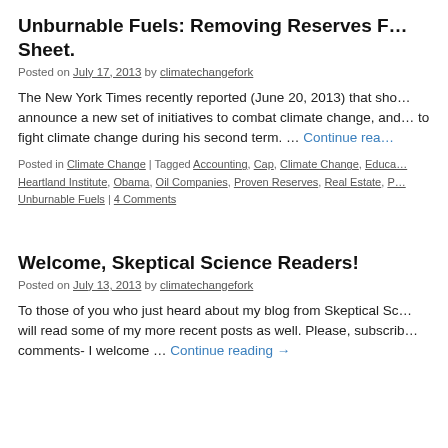Unburnable Fuels: Removing Reserves F… Sheet.
Posted on July 17, 2013 by climatechangefork
The New York Times recently reported (June 20, 2013) that sho… announce a new set of initiatives to combat climate change, and… to fight climate change during his second term. … Continue reading →
Posted in Climate Change | Tagged Accounting, Cap, Climate Change, Educa… Heartland Institute, Obama, Oil Companies, Proven Reserves, Real Estate, P… Unburnable Fuels | 4 Comments
Welcome, Skeptical Science Readers!
Posted on July 13, 2013 by climatechangefork
To those of you who just heard about my blog from Skeptical Sc… will read some of my more recent posts as well. Please, subscrib… comments- I welcome … Continue reading →